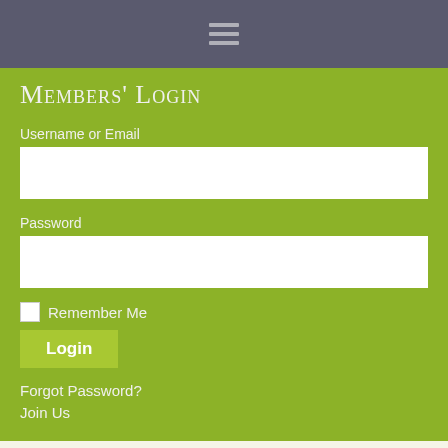Members' Login
Username or Email
Password
Remember Me
Login
Forgot Password?
Join Us
The Family Tree Irish Genealogy Guide: